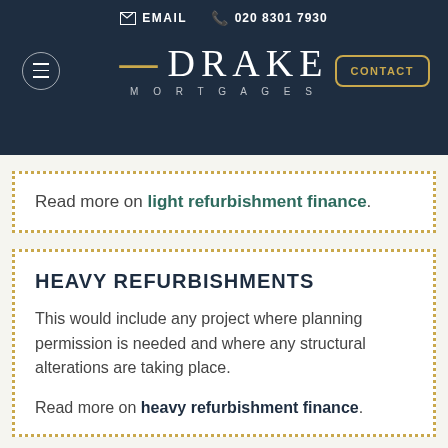EMAIL | 020 8301 7930 | DRAKE MORTGAGES
Read more on light refurbishment finance.
HEAVY REFURBISHMENTS
This would include any project where planning permission is needed and where any structural alterations are taking place.
Read more on heavy refurbishment finance.